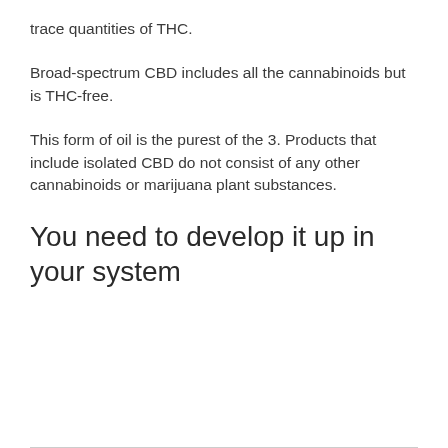trace quantities of THC.
Broad-spectrum CBD includes all the cannabinoids but is THC-free.
This form of oil is the purest of the 3. Products that include isolated CBD do not consist of any other cannabinoids or marijuana plant substances.
You need to develop it up in your system